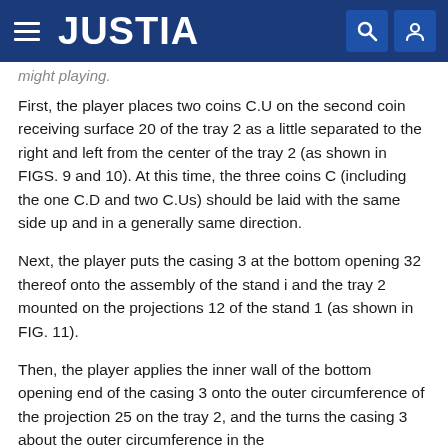JUSTIA
might playing.
First, the player places two coins C.U on the second coin receiving surface 20 of the tray 2 as a little separated to the right and left from the center of the tray 2 (as shown in FIGS. 9 and 10). At this time, the three coins C (including the one C.D and two C.Us) should be laid with the same side up and in a generally same direction.
Next, the player puts the casing 3 at the bottom opening 32 thereof onto the assembly of the stand i and the tray 2 mounted on the projections 12 of the stand 1 (as shown in FIG. 11).
Then, the player applies the inner wall of the bottom opening end of the casing 3 onto the outer circumference of the projection 25 on the tray 2, and the turns the casing 3 about the outer circumference in the